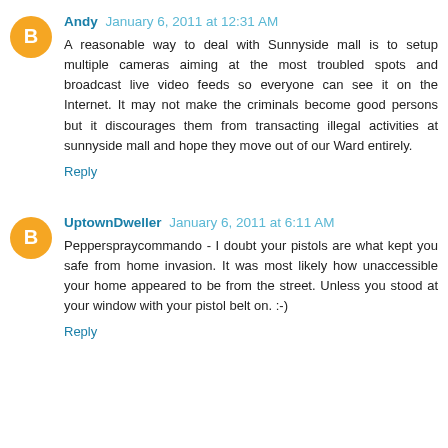Andy — January 6, 2011 at 12:31 AM
A reasonable way to deal with Sunnyside mall is to setup multiple cameras aiming at the most troubled spots and broadcast live video feeds so everyone can see it on the Internet. It may not make the criminals become good persons but it discourages them from transacting illegal activities at sunnyside mall and hope they move out of our Ward entirely.
Reply
UptownDweller — January 6, 2011 at 6:11 AM
Pepperspraycommando - I doubt your pistols are what kept you safe from home invasion. It was most likely how unaccessible your home appeared to be from the street. Unless you stood at your window with your pistol belt on. :-)
Reply